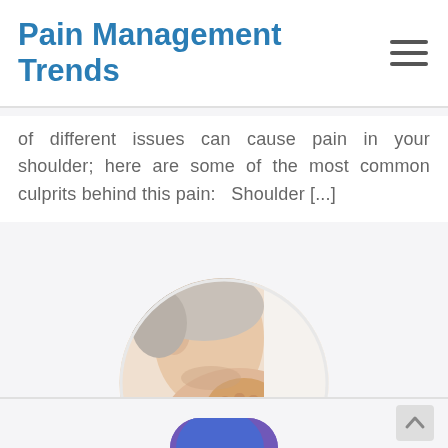Pain Management Trends
of different issues can cause pain in your shoulder; here are some of the most common culprits behind this pain:   Shoulder [...]
[Figure (photo): Circular cropped photo of a person touching/rubbing their shoulder/neck area, suggesting shoulder pain]
[Figure (photo): Partially visible circular cropped photo at bottom of page, appears to show a person with purple/blue tones]